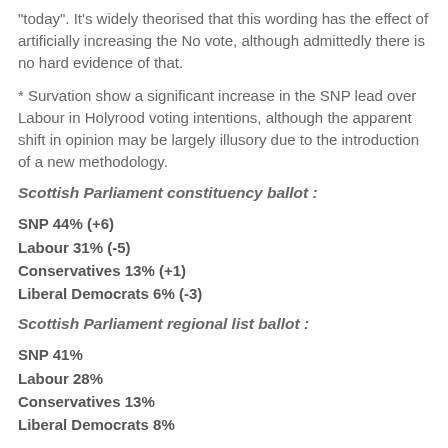"today". It's widely theorised that this wording has the effect of artificially increasing the No vote, although admittedly there is no hard evidence of that.
* Survation show a significant increase in the SNP lead over Labour in Holyrood voting intentions, although the apparent shift in opinion may be largely illusory due to the introduction of a new methodology.
Scottish Parliament constituency ballot :
SNP 44% (+6)
Labour 31% (-5)
Conservatives 13% (+1)
Liberal Democrats 6% (-3)
Scottish Parliament regional list ballot :
SNP 41%
Labour 28%
Conservatives 13%
Liberal Democrats 8%